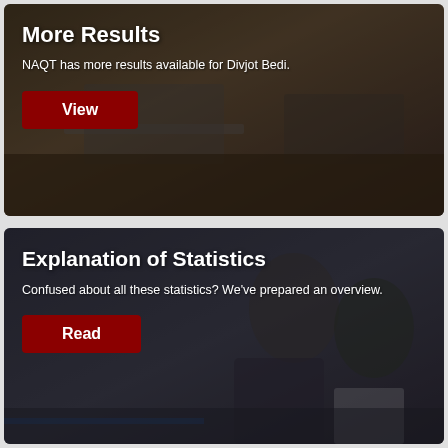[Figure (photo): Students at laptops in a competitive academic setting, dark background photo]
More Results
NAQT has more results available for Divjot Bedi.
View
[Figure (photo): Two young men reviewing a document together in an academic/competition setting]
Explanation of Statistics
Confused about all these statistics? We've prepared an overview.
Read